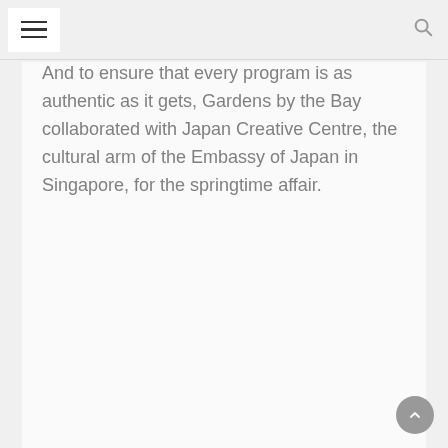≡ [hamburger menu] [search icon]
And to ensure that every program is as authentic as it gets, Gardens by the Bay collaborated with Japan Creative Centre, the cultural arm of the Embassy of Japan in Singapore, for the springtime affair.